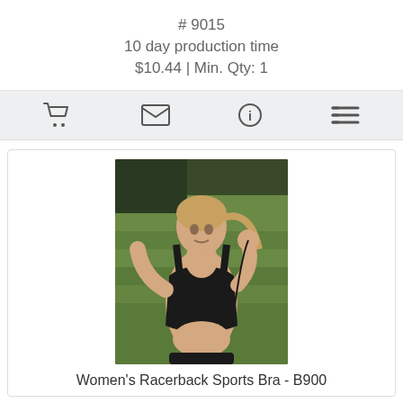# 9015
10 day production time
$10.44 | Min. Qty: 1
[Figure (other): Icon toolbar with shopping cart, envelope/email, info, and list/menu icons on a light gray background]
[Figure (photo): Woman running outdoors wearing a black racerback sports bra, with earbuds in, hair pulled back, green grass in background]
Women's Racerback Sports Bra - B900